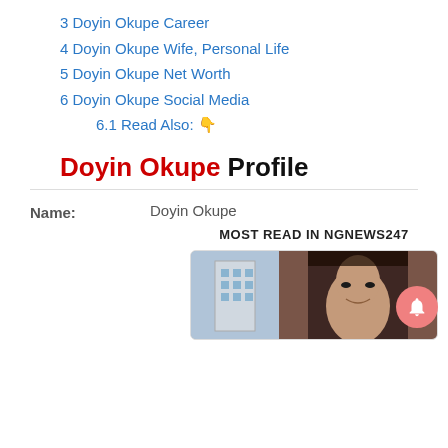3 Doyin Okupe Career
4 Doyin Okupe Wife, Personal Life
5 Doyin Okupe Net Worth
6 Doyin Okupe Social Media
6.1 Read Also: 👇
Doyin Okupe Profile
| Field | Value |
| --- | --- |
| Name: | Doyin Okupe |
MOST READ IN NGNEWS247
[Figure (photo): Two images side by side: a building with CHYZ text visible and a close-up of a woman's face]